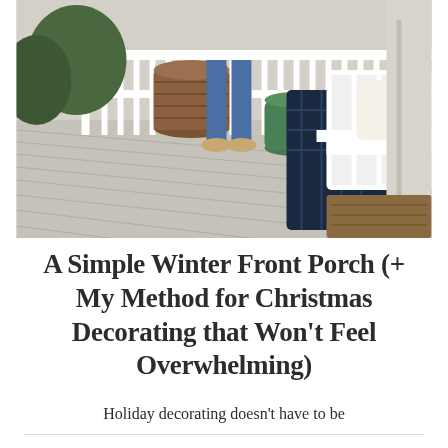[Figure (photo): A winter front porch scene with a white Adirondack chair draped with a navy blue plaid blanket, a green crocheted stool, a large woven basket, white porch railings, and grey wood deck boards. A person in jeans is partially visible standing near the basket.]
A Simple Winter Front Porch (+ My Method for Christmas Decorating that Won't Feel Overwhelming)
Holiday decorating doesn't have to be
complicated to be festive! Check out my simple winter front porch and advice for simple